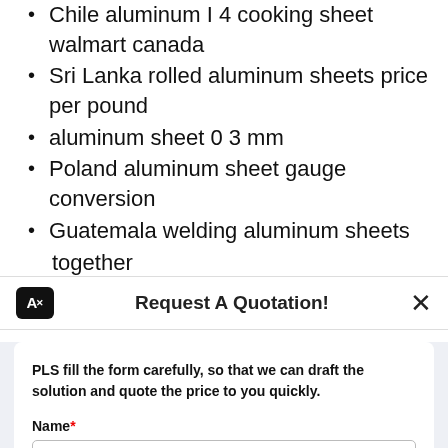Chile aluminum I 4 cooking sheet walmart canada
Sri Lanka rolled aluminum sheets price per pound
aluminum sheet 0 3 mm
Poland aluminum sheet gauge conversion
Guatemala welding aluminum sheets together
together
Request A Quotation!
PLS fill the form carefully, so that we can draft the solution and quote the price to you quickly.
Name*
E-mail*